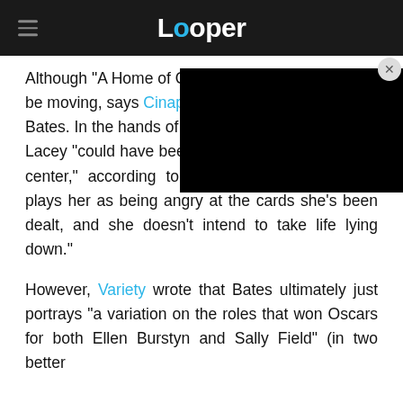Looper
Although "A Home of Our O[wn" may] be moving, says Cinapse, its [performance by] Bates. In the hands of a less[er actress,] Lacey "could have been all squishy and soft at the center," according to Desert News. "But Bates plays her as being angry at the cards she's been dealt, and she doesn't intend to take life lying down."
However, Variety wrote that Bates ultimately just portrays "a variation on the roles that won Oscars for both Ellen Burstyn and Sally Field" (in two better